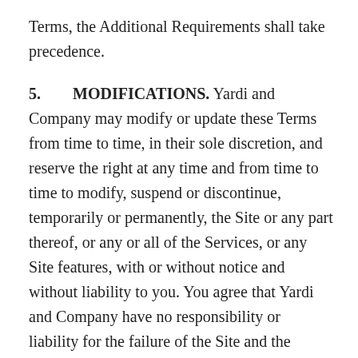Terms, the Additional Requirements shall take precedence.
5. MODIFICATIONS. Yardi and Company may modify or update these Terms from time to time, in their sole discretion, and reserve the right at any time and from time to time to modify, suspend or discontinue, temporarily or permanently, the Site or any part thereof, or any or all of the Services, or any Site features, with or without notice and without liability to you. You agree that Yardi and Company have no responsibility or liability for the failure of the Site and the deletion of other content maintained or transmitted by the Site. You further agree that neither Yardi nor Company shall be liable to you or to any third party for any modification, suspension or